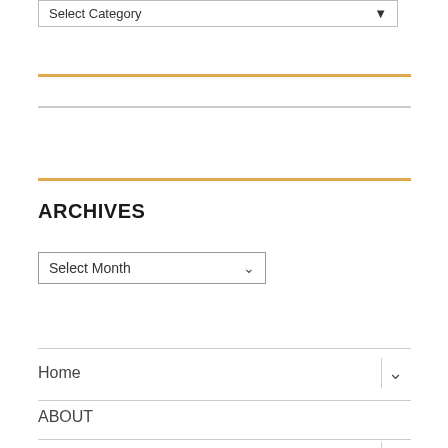Select Category
ARCHIVES
Select Month
Home
ABOUT
Dr. Jay L. Wile